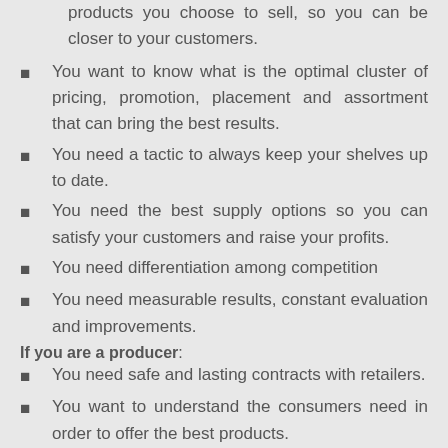products you choose to sell, so you can be closer to your customers.
You want to know what is the optimal cluster of pricing, promotion, placement and assortment that can bring the best results.
You need a tactic to always keep your shelves up to date.
You need the best supply options so you can satisfy your customers and raise your profits.
You need differentiation among competition
You need measurable results, constant evaluation and improvements.
If you are a producer:
You need safe and lasting contracts with retailers.
You want to understand the consumers need in order to offer the best products.